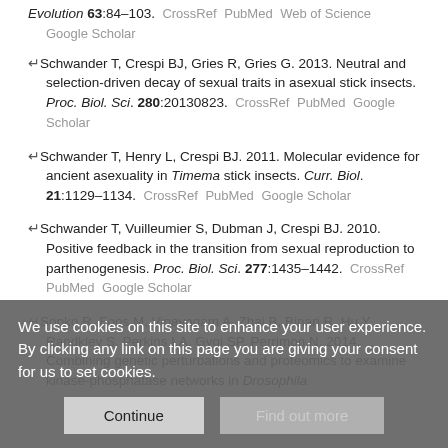Evolution 63:84–103. CrossRef PubMed Web of Science Google Scholar
Schwander T, Crespi BJ, Gries R, Gries G. 2013. Neutral and selection-driven decay of sexual traits in asexual stick insects. Proc. Biol. Sci. 280:20130823. CrossRef PubMed Google Scholar
Schwander T, Henry L, Crespi BJ. 2011. Molecular evidence for ancient asexuality in Timema stick insects. Curr. Biol. 21:1129–1134. CrossRef PubMed Google Scholar
Schwander T, Vuilleumier S, Dubman J, Crespi BJ. 2010. Positive feedback in the transition from sexual reproduction to parthenogenesis. Proc. Biol. Sci. 277:1435–1442. CrossRef PubMed Google Scholar
Sopko R, Foos M, Vinayagam A, Zhai B, Binari R, Hu Y, Randklev S, Perkins LA, Gygi SP, Perrimon N. 2014. Combining genetic perturbations and proteomics to examine kinase-phosphatase networks in Drosophila
We use cookies on this site to enhance your user experience. By clicking any link on this page you are giving your consent for us to set cookies.